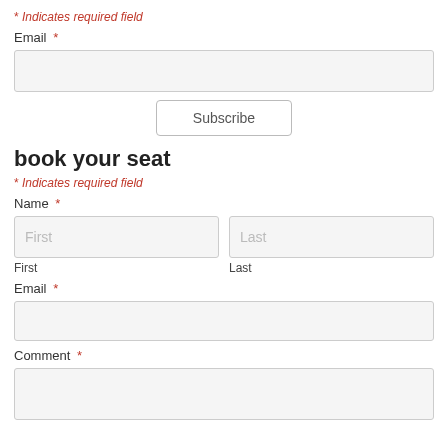* Indicates required field
Email *
[Figure (other): Empty email input field (subscribe form)]
[Figure (other): Subscribe button]
book your seat
* Indicates required field
Name *
[Figure (other): First name input field with placeholder 'First']
[Figure (other): Last name input field with placeholder 'Last']
First
Last
Email *
[Figure (other): Empty email input field (book your seat form)]
Comment *
[Figure (other): Empty comment textarea]